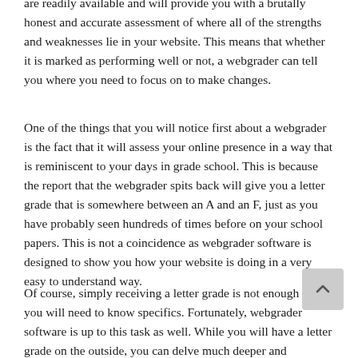are readily available and will provide you with a brutally honest and accurate assessment of where all of the strengths and weaknesses lie in your website. This means that whether it is marked as performing well or not, a webgrader can tell you where you need to focus on to make changes.
One of the things that you will notice first about a webgrader is the fact that it will assess your online presence in a way that is reminiscent to your days in grade school. This is because the report that the webgrader spits back will give you a letter grade that is somewhere between an A and an F, just as you have probably seen hundreds of times before on your school papers. This is not a coincidence as webgrader software is designed to show you how your website is doing in a very easy to understand way.
Of course, simply receiving a letter grade is not enough and you will need to know specifics. Fortunately, webgrader software is up to this task as well. While you will have a letter grade on the outside, you can delve much deeper and